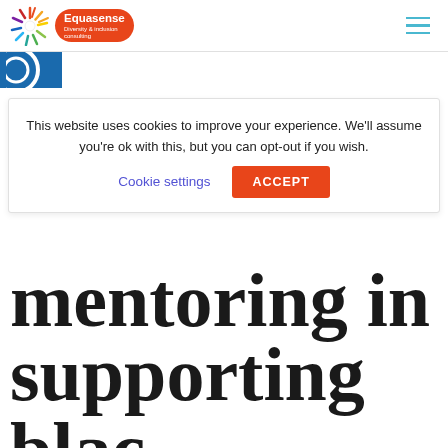[Figure (logo): Equasense Diversity & inclusion consulting logo with colorful sunburst and orange badge]
[Figure (other): Blue rectangle with partial white circle icon (cookie/settings icon)]
This website uses cookies to improve your experience. We'll assume you're ok with this, but you can opt-out if you wish.
Cookie settings
ACCEPT
mentoring in supporting blac